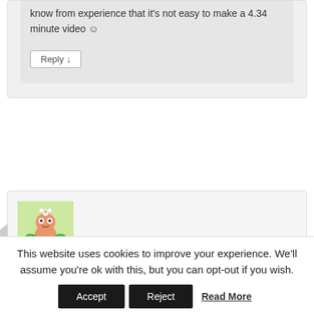know from experience that it's not easy to make a 4.34 minute video ☺
Reply ↓
[Figure (illustration): Cartoon avatar of a worm-like character with a flower on head and green arms, on light green background]
Beatrice on 25/03/2019 at 21:24 said:
https://spark.adobe.com/video/pOzR70cEjkCIm
Reply ↓
This website uses cookies to improve your experience. We'll assume you're ok with this, but you can opt-out if you wish.
Accept
Reject
Read More